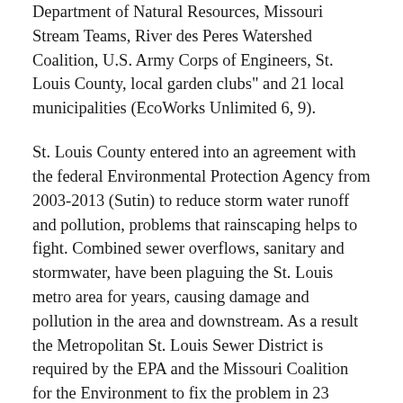Department of Natural Resources, Missouri Stream Teams, River des Peres Watershed Coalition, U.S. Army Corps of Engineers, St. Louis County, local garden clubs" and 21 local municipalities (EcoWorks Unlimited 6, 9).
St. Louis County entered into an agreement with the federal Environmental Protection Agency from 2003-2013 (Sutin) to reduce storm water runoff and pollution, problems that rainscaping helps to fight. Combined sewer overflows, sanitary and stormwater, have been plaguing the St. Louis metro area for years, causing damage and pollution in the area and downstream. As a result the Metropolitan St. Louis Sewer District is required by the EPA and the Missouri Coalition for the Environment to fix the problem in 23 years. The clock started in 2011 (Buranen).
St. Louis County and the Metropolitan Sewer District, hereafter known in this document as STLCO and MSD, have constituencies that overlap. Besides being fellow members